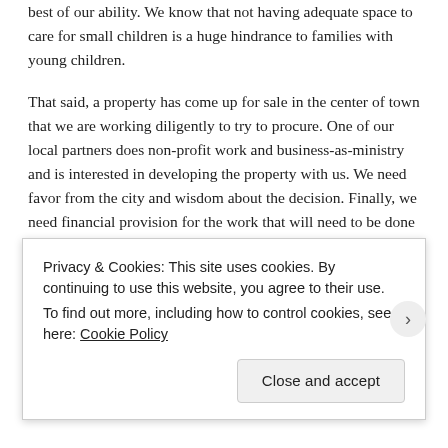best of our ability. We know that not having adequate space to care for small children is a huge hindrance to families with young children.
That said, a property has come up for sale in the center of town that we are working diligently to try to procure. One of our local partners does non-profit work and business-as-ministry and is interested in developing the property with us. We need favor from the city and wisdom about the decision. Finally, we need financial provision for the work that will need to be done to develop the property. There are some buildings on the property but they will need considerable renovations. To sum up: if this happens, it will be a GOD-THING! In the meantime, would you
Privacy & Cookies: This site uses cookies. By continuing to use this website, you agree to their use.
To find out more, including how to control cookies, see here: Cookie Policy